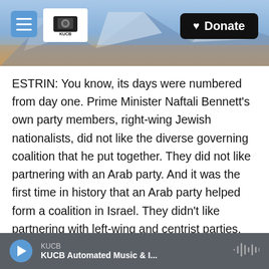[Figure (screenshot): KUCB website header banner with mountain/landscape photo background, hamburger menu button, KUCB Channel 8 TV logo, and black Donate button with heart icon]
ESTRIN: You know, its days were numbered from day one. Prime Minister Naftali Bennett's own party members, right-wing Jewish nationalists, did not like the diverse governing coalition that he put together. They did not like partnering with an Arab party. And it was the first time in history that an Arab party helped form a coalition in Israel. They didn't like partnering with left-wing and centrist parties, which were trying to challenge the role of Orthodox Judaism in public life. And so Bennett's allies were withdrawing their support for the coalition one after the other. It reached the point
KUCB / KUCB Automated Music & I...